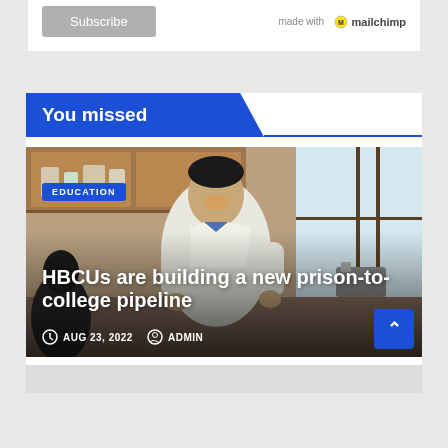[Figure (screenshot): Subscribe button with Mailchimp branding on white card background]
You missed
[Figure (photo): Photo of a smiling man in a white lab coat in a laboratory setting with wooden cabinets and lab equipment]
EDUCATION
HBCUs are building a new prison-to-college pipeline
AUG 23, 2022  ADMIN